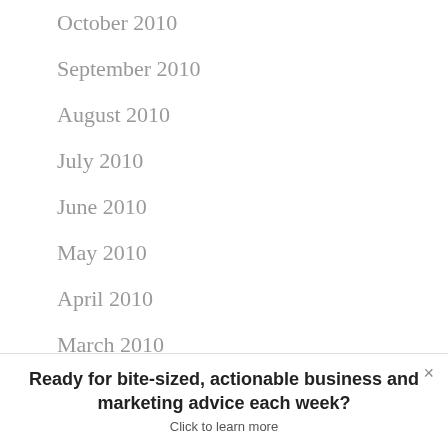October 2010
September 2010
August 2010
July 2010
June 2010
May 2010
April 2010
March 2010
February 2010
Ready for bite-sized, actionable business and marketing advice each week?
Click to learn more